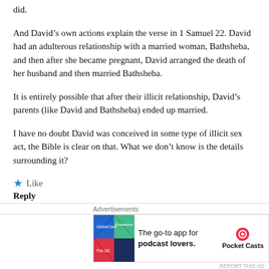did.
And David’s own actions explain the verse in 1 Samuel 22. David had an adulterous relationship with a married woman, Bathsheba, and then after she became pregnant, David arranged the death of her husband and then married Bathsheba.
It is entirely possible that after their illicit relationship, David’s parents (like David and Bathsheba) ended up married.
I have no doubt David was conceived in some type of illicit sex act, the Bible is clear on that. What we don’t know is the details surrounding it?
★ Like
Reply
Vaunex
[Figure (illustration): Green mosaic/avatar icon for commenter Vaunex]
[Figure (illustration): Advertisement banner: The go-to app for podcast lovers. Pocket Casts logo.]